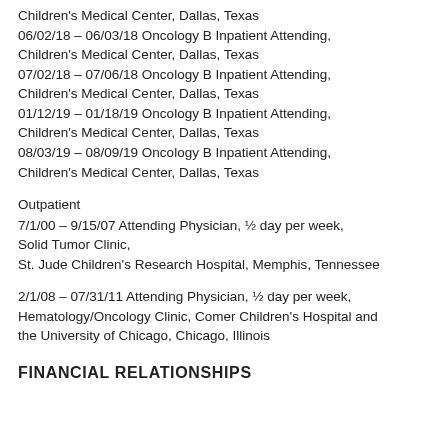Children's Medical Center, Dallas, Texas 06/02/18 – 06/03/18 Oncology B Inpatient Attending, Children's Medical Center, Dallas, Texas 07/02/18 – 07/06/18 Oncology B Inpatient Attending, Children's Medical Center, Dallas, Texas 01/12/19 – 01/18/19 Oncology B Inpatient Attending, Children's Medical Center, Dallas, Texas 08/03/19 – 08/09/19 Oncology B Inpatient Attending, Children's Medical Center, Dallas, Texas
Outpatient
7/1/00 – 9/15/07 Attending Physician, ½ day per week, Solid Tumor Clinic, St. Jude Children's Research Hospital, Memphis, Tennessee
2/1/08 – 07/31/11 Attending Physician, ½ day per week, Hematology/Oncology Clinic, Comer Children's Hospital and the University of Chicago, Chicago, Illinois
FINANCIAL RELATIONSHIPS